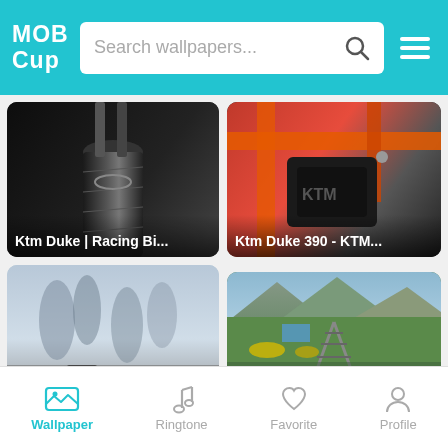MOB Cup - Search wallpapers...
[Figure (screenshot): Motorcycle tire/wheel close-up, dark background - Ktm Duke | Racing Bi...]
[Figure (screenshot): KTM Duke 390 orange frame close-up - Ktm Duke 390 - KTM...]
[Figure (screenshot): Motorcycles in misty foggy scene with trees]
[Figure (photo): Railroad tracks through green nature landscape with mountains]
Wallpaper | Ringtone | Favorite | Profile